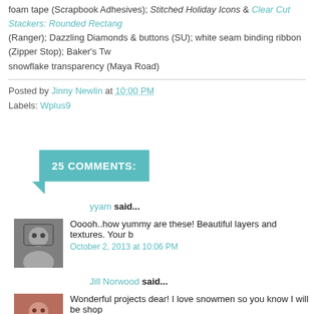foam tape (Scrapbook Adhesives); Stitched Holiday Icons & Clear Cut Stackers: Rounded Rectangles (Ranger); Dazzling Diamonds & buttons (SU); white seam binding ribbon (Zipper Stop); Baker's Tw snowflake transparency (Maya Road)
Posted by Jinny Newlin at 10:00 PM
Labels: Wplus9
25 COMMENTS:
yyam said...
Ooooh..how yummy are these! Beautiful layers and textures. Your b
October 2, 2013 at 10:06 PM
Jill Norwood said...
Wonderful projects dear! I love snowmen so you know I will be shop
October 2, 2013 at 10:33 PM